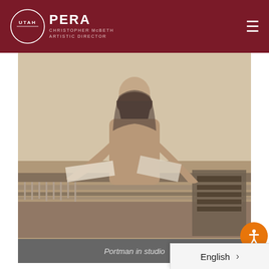UTAH OPERA — CHRISTOPHER McBETH ARTISTIC DIRECTOR
[Figure (photo): Sepia-toned photograph of Rachel Portman working at a mixing/recording console in a studio, leaning over the equipment with papers and audio equipment visible]
Portman in studio
Composer John Williams once said: “Film is the opera of the second half of the 20th century,” so it’s no wonder that Rachel Portman eventually tur